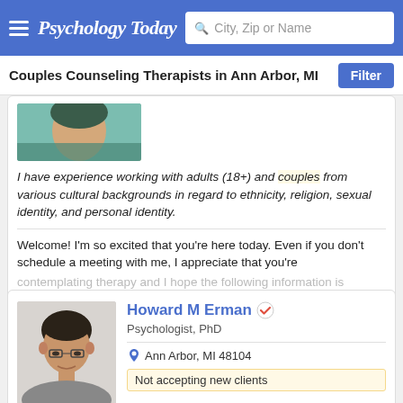Psychology Today — City, Zip or Name search
Couples Counseling Therapists in Ann Arbor, MI
[Figure (photo): Partial photo of a therapist in a floral shirt]
I have experience working with adults (18+) and couples from various cultural backgrounds in regard to ethnicity, religion, sexual identity, and personal identity.
Welcome! I'm so excited that you're here today. Even if you don't schedule a meeting with me, I appreciate that you're contemplating therapy and I hope the following information is
Email
(734) 875-8641
Howard M Erman
Psychologist, PhD
Ann Arbor, MI 48104
Not accepting new clients